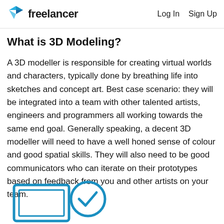freelancer   Log In   Sign Up
What is 3D Modeling?
A 3D modeller is responsible for creating virtual worlds and characters, typically done by breathing life into sketches and concept art. Best case scenario: they will be integrated into a team with other talented artists, engineers and programmers all working towards the same end goal. Generally speaking, a decent 3D modeller will need to have a well honed sense of colour and good spatial skills. They will also need to be good communicators who can iterate on their prototypes based on feedback from you and other artists on your team.
[Figure (illustration): Partial illustration at the bottom of the page showing a blue icon with a checkmark circle, partially cropped]